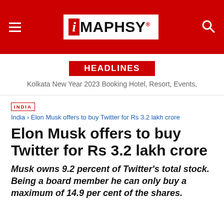iMAPHSY
HEADLINES
Kolkata New Year 2023 Booking Hotel, Resort, Events,
INDIA
India › Elon Musk offers to buy Twitter for Rs 3.2 lakh crore
Elon Musk offers to buy Twitter for Rs 3.2 lakh crore
Musk owns 9.2 percent of Twitter's total stock. Being a board member he can only buy a maximum of 14.9 per cent of the shares.